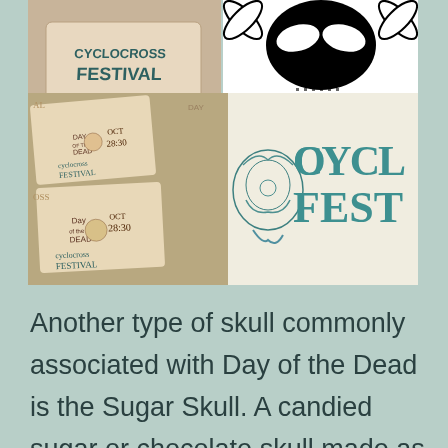[Figure (photo): A collage of four images: top-left shows a tan/beige festival card with 'Cyclocross Festival' text; top-right shows a black and white sugar skull decorative pattern; bottom-left shows multiple Day of the Dead Cyclocross Festival tickets/cards with skull imagery and dates OCT 28-30; bottom-right shows a teal/turquoise 'CYCLO FEST' retro-style logo with a decorative sugar skull illustration]
Another type of skull commonly associated with Day of the Dead is the Sugar Skull. A candied sugar or chocolate skull made as an offering to the dead. The idea is to make